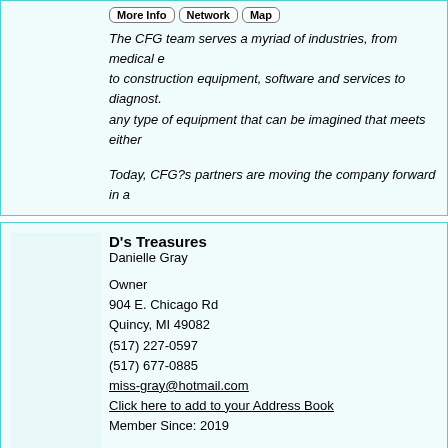The CFG team serves a myriad of industries, from medical e... to construction equipment, software and services to diagnost... any type of equipment that can be imagined that meets either...
Today, CFG?s partners are moving the company forward in a...
D's Treasures
Danielle Gray

Owner
904 E. Chicago Rd
Quincy, MI 49082
(517) 227-0597
(517) 677-0885
miss-gray@hotmail.com
Click here to add to your Address Book
Member Since: 2019
Up cycled creative items, locally home grown seasonal fruits... Great gift items!
Dairy Queen
Mr. Todd Haidous

Owner
559 E Chicago St.
Caldwater, MI 49036